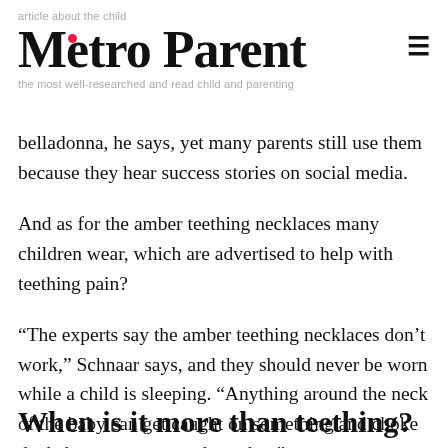Metro Parent
belladonna, he says, yet many parents still use them because they hear success stories on social media.
And as for the amber teething necklaces many children wear, which are advertised to help with teething pain?
“The experts say the amber teething necklaces don’t work,” Schnaar says, and they should never be worn while a child is sleeping. “Anything around the neck of the baby can get caught on something and choke the baby, so we worry about that.”
When is it more than teething?